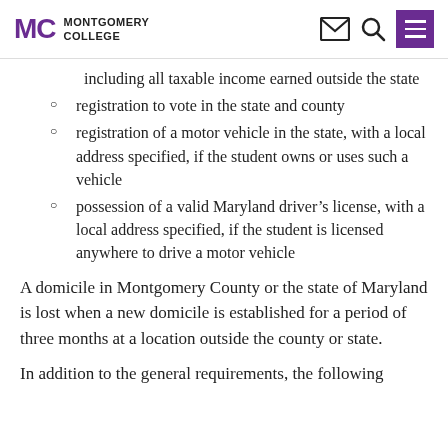MONTGOMERY COLLEGE
including all taxable income earned outside the state
registration to vote in the state and county
registration of a motor vehicle in the state, with a local address specified, if the student owns or uses such a vehicle
possession of a valid Maryland driver’s license, with a local address specified, if the student is licensed anywhere to drive a motor vehicle
A domicile in Montgomery County or the state of Maryland is lost when a new domicile is established for a period of three months at a location outside the county or state.
In addition to the general requirements, the following